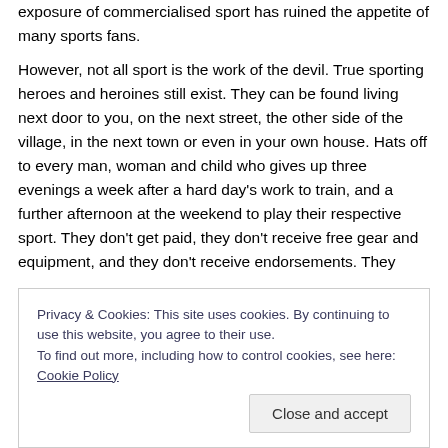exposure of commercialised sport has ruined the appetite of many sports fans.
However, not all sport is the work of the devil. True sporting heroes and heroines still exist. They can be found living next door to you, on the next street, the other side of the village, in the next town or even in your own house. Hats off to every man, woman and child who gives up three evenings a week after a hard day’s work to train, and a further afternoon at the weekend to play their respective sport. They don’t get paid, they don’t receive free gear and equipment, and they don’t receive endorsements. They
Privacy & Cookies: This site uses cookies. By continuing to use this website, you agree to their use.
To find out more, including how to control cookies, see here: Cookie Policy
Close and accept